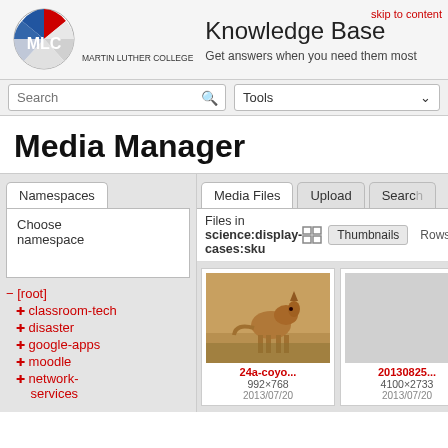Knowledge Base — Get answers when you need them most — Martin Luther College
skip to content
Search
Tools
Media Manager
Namespaces
Media Files
Upload
Search
Files in science:display-cases:sku
Thumbnails
Rows
− [root]
+ classroom-tech
+ disaster
+ google-apps
+ moodle
+ network-services
[Figure (photo): Thumbnail image of a coyote standing in dry grass]
24a-coyo...
992×768
2013/07/20
20130825...
4100×2733
2013/07/20
be...